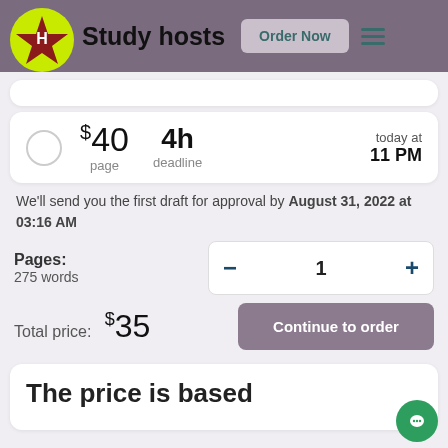Study hosts | Order Now
$40 per page | 4h deadline | today at 11 PM
We'll send you the first draft for approval by August 31, 2022 at 03:16 AM
Pages: 275 words | 1 | Continue to order
Total price: $35
The price is based